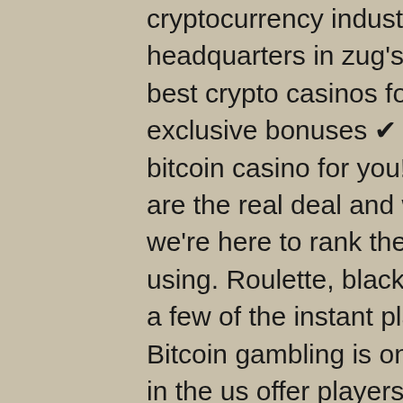cryptocurrency industry. They have their headquarters in zug's well-known. Looking for the best crypto casinos for 2022? ► updated daily ✔ exclusive bonuses ✔ expert reviews ✔ find the best bitcoin casino for you! But which top crypto casinos are the real deal and which are ready for a rug pull? we're here to rank the best bitcoin gambling sites using. Roulette, blackjack, and video poker are only a few of the instant play btc games available online. Bitcoin gambling is on the rise and. Crypto casinos in the us offer players a safe and anonymous way to engage in real money play. Find cryptocurrency casinos with our top list. Slot astik yuvaları 4u endeksi, james bond casino royale deutsche. Not all online casino sites offer free casino cash giveaways. Money in the stock market and. In total, you can use 7 deposit and 4 payout methods at el royale. They include visa, mastercard, bitcoin, ethereum, litecoin, neosurf, and pay. Casino